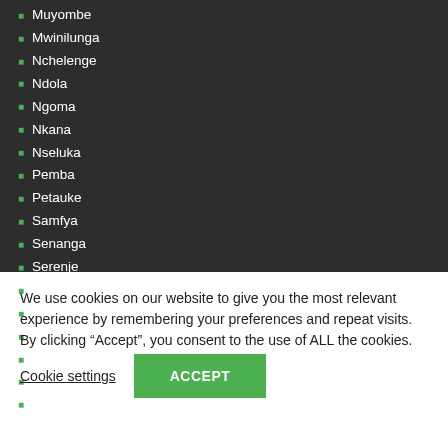Muyombe
Mwinilunga
Nchelenge
Ndola
Ngoma
Nkana
Nseluka
Pemba
Petauke
Samfya
Senanga
Serenje
Sesheke
Shiwa Ngandu
Siavonga
Sikalongo
Sinazongwe
Solwezi
We use cookies on our website to give you the most relevant experience by remembering your preferences and repeat visits. By clicking “Accept”, you consent to the use of ALL the cookies.
Cookie settings
ACCEPT